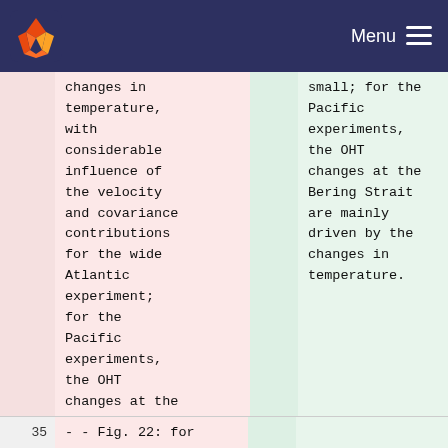Menu
changes in temperature, with considerable influence of the velocity and covariance contributions for the wide Atlantic experiment; for the Pacific experiments, the OHT changes at the BSO are shared by all 3 contributions;
small; for the Pacific experiments, the OHT changes at the Bering Strait are mainly driven by the changes in temperature.
35 - - Fig. 22: for